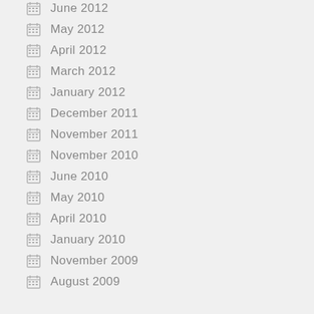June 2012
May 2012
April 2012
March 2012
January 2012
December 2011
November 2011
November 2010
June 2010
May 2010
April 2010
January 2010
November 2009
August 2009